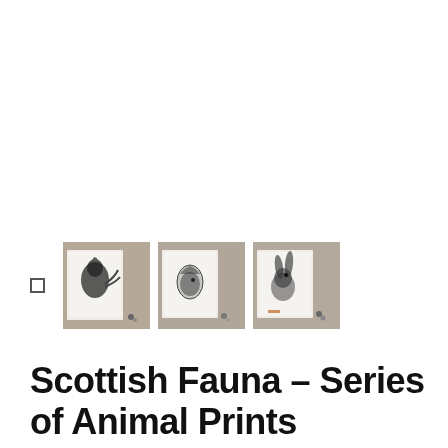[Figure (photo): Three thumbnail photos of animal print artwork cards laid on a wooden surface, showing black and white illustrations of Scottish animals. A small dark square indicator is shown to the left of the thumbnails.]
Scottish Fauna – Series of Animal Prints
£10.00
Tax included.